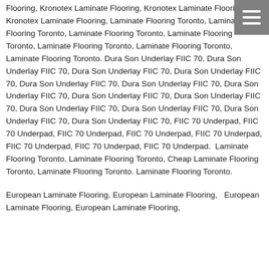Flooring, Kronotex Laminate Flooring, Kronotex Laminate Flooring, Kronotex Laminate Flooring, Laminate Flooring Toronto, Laminate Flooring Toronto, Laminate Flooring Toronto, Laminate Flooring Toronto, Laminate Flooring Toronto, Laminate Flooring Toronto, Laminate Flooring Toronto, Laminate Flooring Toronto. Dura Son Underlay FIIC 70, Dura Son Underlay FIIC 70, Dura Son Underlay FIIC 70, Dura Son Underlay FIIC 70, Dura Son Underlay FIIC 70, Dura Son Underlay FIIC 70, Dura Son Underlay FIIC 70, Dura Son Underlay FIIC 70, Dura Son Underlay FIIC 70, Dura Son Underlay FIIC 70, Dura Son Underlay FIIC 70, Dura Son Underlay FIIC 70, Dura Son Underlay FIIC 70, FIIC 70 Underpad, FIIC 70 Underpad, FIIC 70 Underpad, FIIC 70 Underpad, FIIC 70 Underpad, FIIC 70 Underpad, FIIC 70 Underpad, FIIC 70 Underpad.  Laminate Flooring Toronto, Laminate Flooring Toronto, Cheap Laminate Flooring Toronto, Laminate Flooring Toronto. Laminate Flooring Toronto.
European Laminate Flooring, European Laminate Flooring, European Laminate Flooring, European Laminate Flooring,